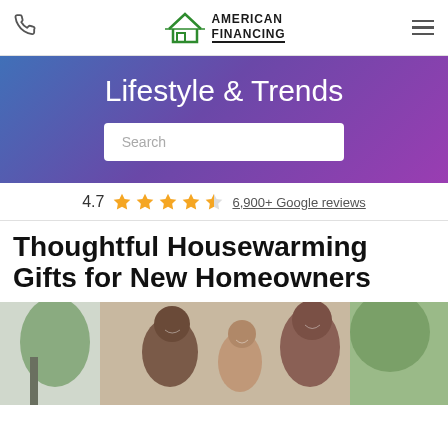[Figure (logo): American Financing logo with green house outline and bold uppercase text]
Lifestyle & Trends
Search
4.7  ★ ★ ★ ★ ☆  6,900+ Google reviews
Thoughtful Housewarming Gifts for New Homeowners
[Figure (photo): Family of three smiling outdoors, parents and child, warm natural background]